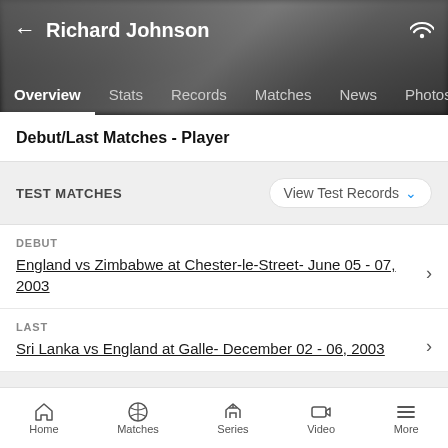← Richard Johnson
Overview  Stats  Records  Matches  News  Photos
Debut/Last Matches - Player
TEST MATCHES
View Test Records
DEBUT
England vs Zimbabwe at Chester-le-Street- June 05 - 07, 2003
LAST
Sri Lanka vs England at Galle- December 02 - 06, 2003
ODI MATCHES
View ODI Records
Home  Matches  Series  Video  More